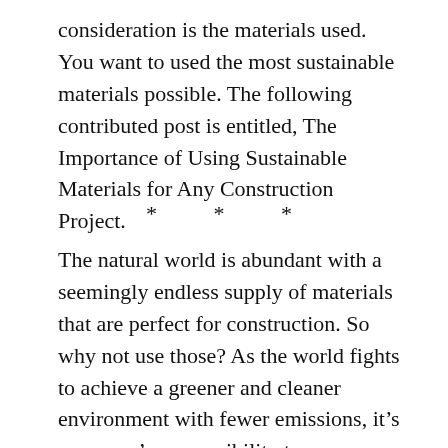consideration is the materials used. You want to used the most sustainable materials possible. The following contributed post is entitled, The Importance of Using Sustainable Materials for Any Construction Project.
* * *
The natural world is abundant with a seemingly endless supply of materials that are perfect for construction. So why not use those? As the world fights to achieve a greener and cleaner environment with fewer emissions, it's everyone's responsibility to use options that are sustainable, renewable, and of course, cleaner.